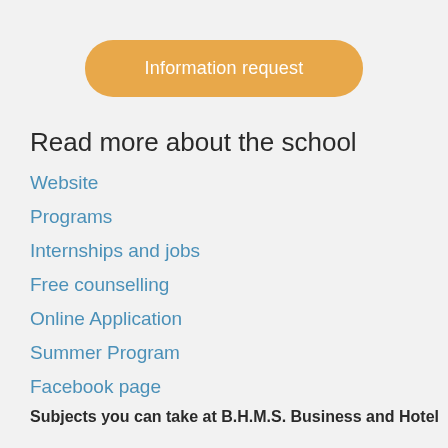Information request
Read more about the school
Website
Programs
Internships and jobs
Free counselling
Online Application
Summer Program
Facebook page
Subjects you can take at B.H.M.S. Business and Hotel